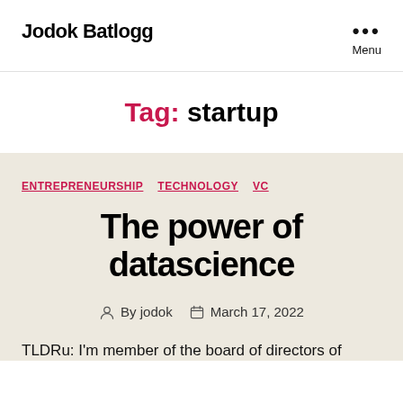Jodok Batlogg
Tag: startup
ENTREPRENEURSHIP  TECHNOLOGY  VC
The power of datascience
By jodok  March 17, 2022
TLDRu: I'm member of the board of directors of